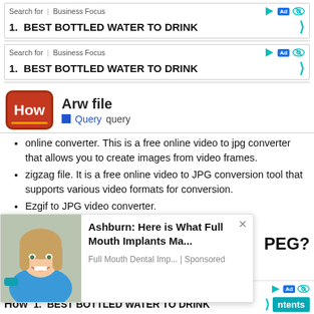[Figure (screenshot): Ad bar 1: Search for | Business Focus with play, Ad badge, eye icons and '1. BEST BOTTLED WATER TO DRINK' with teal chevron]
[Figure (screenshot): Ad bar 2: Search for | Business Focus with play, Ad badge, eye icons and '1. BEST BOTTLED WATER TO DRINK' with teal chevron]
[Figure (logo): HowToGeek 'How' logo in red rounded rectangle with orange underline]
Arw file
Query  query
online converter. This is a free online video to jpg converter that allows you to create images from video frames.
zigzag file. It is a free online video to JPG conversion tool that supports various video formats for conversion.
Ezgif to JPG video converter.
Online-Convert.
[Figure (screenshot): Popup ad overlay: photo of woman dental patient, 'Ashburn: Here is What Full Mouth Implants Ma...' title, 'Full Mouth Dental Imp... | Sponsored' subtitle]
PEG?
[Figure (screenshot): Bottom ad bar: Business Focus | play, Ad, eye icons, '1. BEST BOTTLED WATER TO DRINK' with chevron]
How
[Figure (screenshot): Teal 'ntents' button at bottom right]